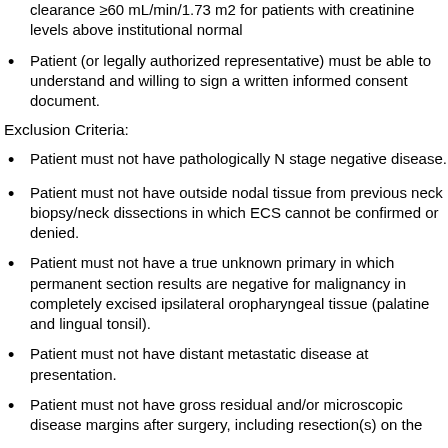clearance ≥60 mL/min/1.73 m2 for patients with creatinine levels above institutional normal
Patient (or legally authorized representative) must be able to understand and willing to sign a written informed consent document.
Exclusion Criteria:
Patient must not have pathologically N stage negative disease.
Patient must not have outside nodal tissue from previous neck biopsy/neck dissections in which ECS cannot be confirmed or denied.
Patient must not have a true unknown primary in which permanent section results are negative for malignancy in completely excised ipsilateral oropharyngeal tissue (palatine and lingual tonsil).
Patient must not have distant metastatic disease at presentation.
Patient must not have gross residual and/or microscopic disease margins after surgery, including resection(s) on the